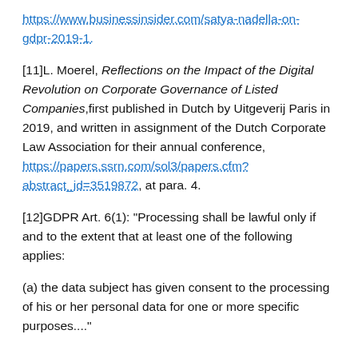https://www.businessinsider.com/satya-nadella-on-gdpr-2019-1.
[11]L. Moerel, Reflections on the Impact of the Digital Revolution on Corporate Governance of Listed Companies, first published in Dutch by Uitgeverij Paris in 2019, and written in assignment of the Dutch Corporate Law Association for their annual conference, https://papers.ssrn.com/sol3/papers.cfm?abstract_id=3519872, at para. 4.
[12]GDPR Art. 6(1): "Processing shall be lawful only if and to the extent that at least one of the following applies:
(a) the data subject has given consent to the processing of his or her personal data for one or more specific purposes...."}